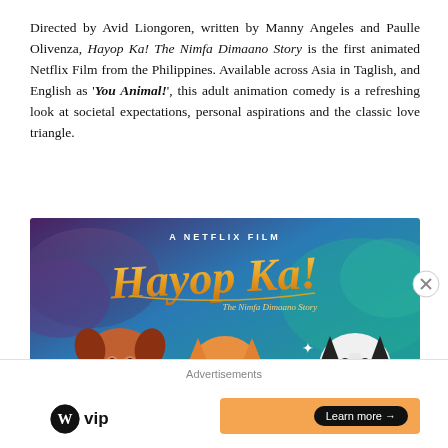Directed by Avid Liongoren, written by Manny Angeles and Paulle Olivenza, Hayop Ka! The Nimfa Dimaano Story is the first animated Netflix Film from the Philippines. Available across Asia in Taglish, and English as 'You Animal!', this adult animation comedy is a refreshing look at societal expectations, personal aspirations and the classic love triangle.
[Figure (illustration): Movie poster for Hayop Ka! The Nimfa Dimaano Story — A Netflix Film. Shows animated animal characters: a dog on the left wearing a tank top, a cat in the center, and a husky on the right holding flowers, set against a teal/purple background with the stylized golden title text.]
Advertisements
[Figure (logo): WordPress VIP logo with a circular W icon followed by 'vip' text]
[Figure (other): Orange advertisement banner with 'Learn more →' button in dark pill shape]